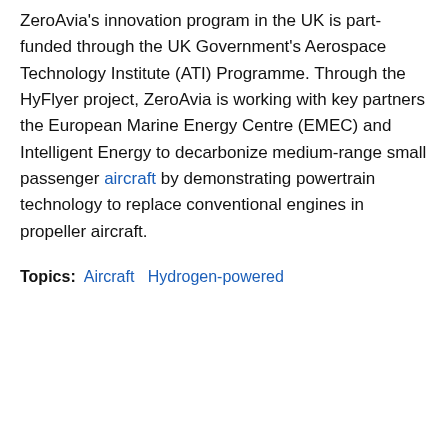ZeroAvia's innovation program in the UK is part-funded through the UK Government's Aerospace Technology Institute (ATI) Programme. Through the HyFlyer project, ZeroAvia is working with key partners the European Marine Energy Centre (EMEC) and Intelligent Energy to decarbonize medium-range small passenger aircraft by demonstrating powertrain technology to replace conventional engines in propeller aircraft.
Topics: Aircraft  Hydrogen-powered